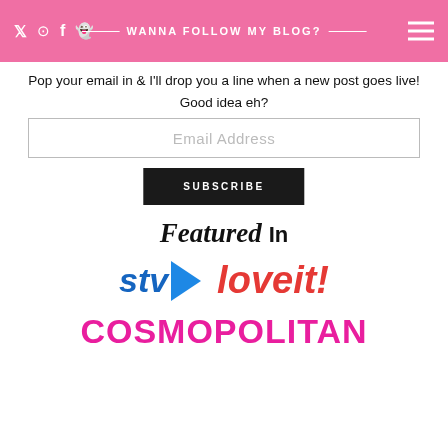WANNA FOLLOW MY BLOG?
Pop your email in & I'll drop you a line when a new post goes live! Good idea eh?
Email Address
SUBSCRIBE
[Figure (logo): Featured In section with STV, loveit!, and COSMOPOLITAN logos]